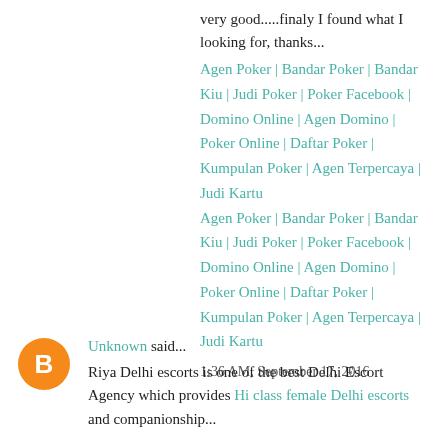very good.....finaly I found what I looking for, thanks...
Agen Poker | Bandar Poker | Bandar Kiu | Judi Poker | Poker Facebook | Domino Online | Agen Domino | Poker Online | Daftar Poker | Kumpulan Poker | Agen Terpercaya | Judi Kartu
Agen Poker | Bandar Poker | Bandar Kiu | Judi Poker | Poker Facebook | Domino Online | Agen Domino | Poker Online | Daftar Poker | Kumpulan Poker | Agen Terpercaya | Judi Kartu
1:36 AM, September 17, 2016
Unknown said...
Riya Delhi escorts is one of the best Delhi Escort Agency which provides Hi class female Delhi escorts and companionship...